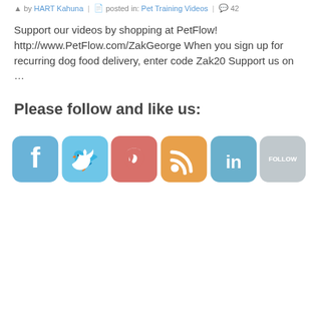by HART Kahuna | posted in: Pet Training Videos | 42
Support our videos by shopping at PetFlow! http://www.PetFlow.com/ZakGeorge When you sign up for recurring dog food delivery, enter code Zak20 Support us on …
Please follow and like us:
[Figure (illustration): Row of six social media icon buttons: Facebook (blue), Twitter (light blue), Pinterest (red/salmon), RSS (orange), LinkedIn (blue), and a grey Follow button]